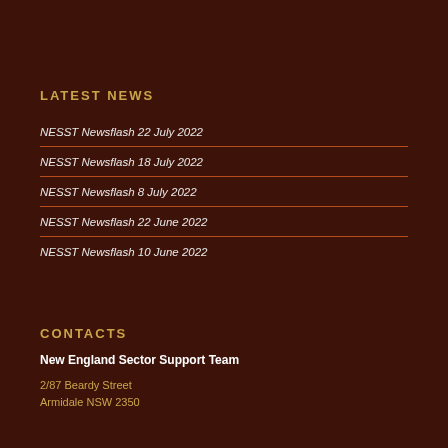LATEST NEWS
NESST Newsflash 22 July 2022
NESST Newsflash 18 July 2022
NESST Newsflash 8 July 2022
NESST Newsflash 22 June 2022
NESST Newsflash 10 June 2022
CONTACTS
New England Sector Support Team
2/87 Beardy Street
Armidale NSW 2350